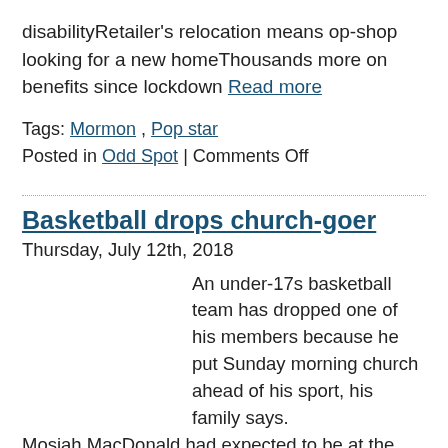disabilityRetailer's relocation means op-shop looking for a new homeThousands more on benefits since lockdown Read more
Tags: Mormon , Pop star
Posted in Odd Spot | Comments Off
Basketball drops church-goer
Thursday, July 12th, 2018
An under-17s basketball team has dropped one of his members because he put Sunday morning church ahead of his sport, his family says.
Mosiah MacDonald had expected to be at the